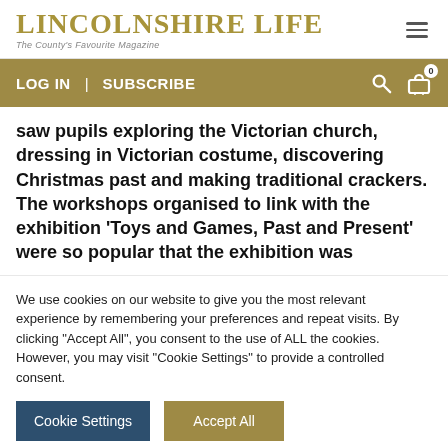LINCOLNSHIRE LIFE — The County's Favourite Magazine
LOG IN  |  SUBSCRIBE
saw pupils exploring the Victorian church, dressing in Victorian costume, discovering Christmas past and making traditional crackers. The workshops organised to link with the exhibition 'Toys and Games, Past and Present' were so popular that the exhibition was
We use cookies on our website to give you the most relevant experience by remembering your preferences and repeat visits. By clicking "Accept All", you consent to the use of ALL the cookies. However, you may visit "Cookie Settings" to provide a controlled consent.